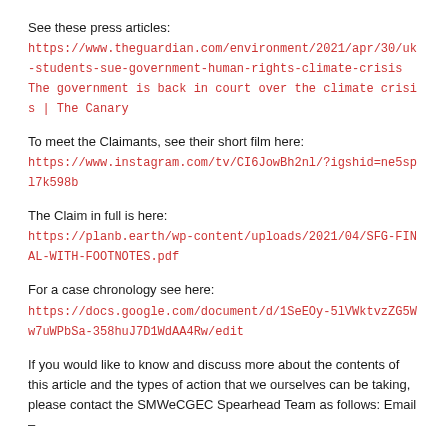See these press articles:
https://www.theguardian.com/environment/2021/apr/30/uk-students-sue-government-human-rights-climate-crisis
The government is back in court over the climate crisis | The Canary
To meet the Claimants, see their short film here:
https://www.instagram.com/tv/CI6JowBh2nl/?igshid=ne5spl7k598b
The Claim in full is here:
https://planb.earth/wp-content/uploads/2021/04/SFG-FINAL-WITH-FOOTNOTES.pdf
For a case chronology see here:
https://docs.google.com/document/d/1SeEOy-5lVWktvzZG5Ww7uWPbSa-358huJ7D1WdAA4Rw/edit
If you would like to know and discuss more about the contents of this article and the types of action that we ourselves can be taking, please contact the SMWeCGEC Spearhead Team as follows: Email –